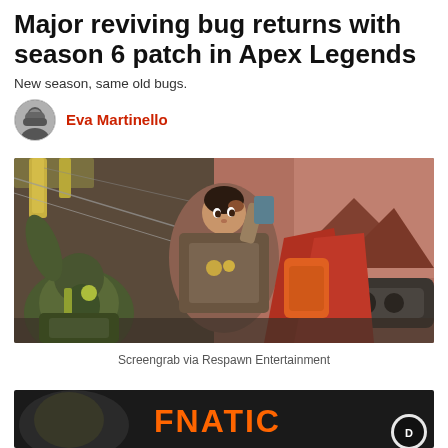Major reviving bug returns with season 6 patch in Apex Legends
New season, same old bugs.
Eva Martinello
[Figure (photo): Game screenshot from Apex Legends showing a female character in the foreground holding equipment, with other characters around her in a sci-fi industrial setting. Screengrab via Respawn Entertainment.]
Screengrab via Respawn Entertainment
[Figure (photo): Partial view of a second image at the bottom showing a dark-themed graphic with orange text reading 'FNATIC' partially visible, with a circular logo on the right.]